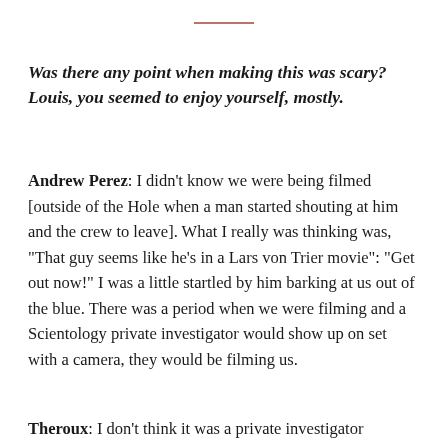Was there any point when making this was scary? Louis, you seemed to enjoy yourself, mostly.
Andrew Perez: I didn't know we were being filmed [outside of the Hole when a man started shouting at him and the crew to leave]. What I really was thinking was, “That guy seems like he’s in a Lars von Trier movie”: “Get out now!” I was a little startled by him barking at us out of the blue. There was a period when we were filming and a Scientology private investigator would show up on set with a camera, they would be filming us.
Theroux: I don’t think it was a private investigator